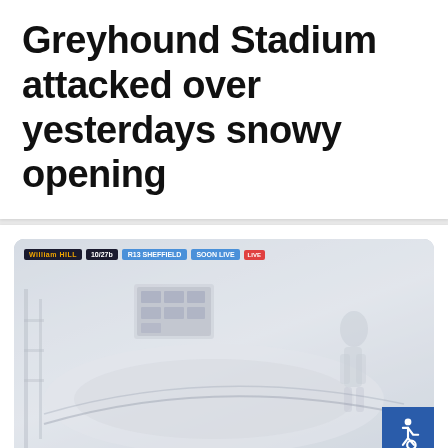Greyhound Stadium attacked over yesterdays snowy opening
[Figure (screenshot): Screenshot of a greyhound racing broadcast showing a snowy/foggy stadium interior. Broadcast overlay bar at top shows William Hill logo, odds, R13 Sheffield label, and Soon Live indicator. An accessibility icon is visible in the bottom-right corner.]